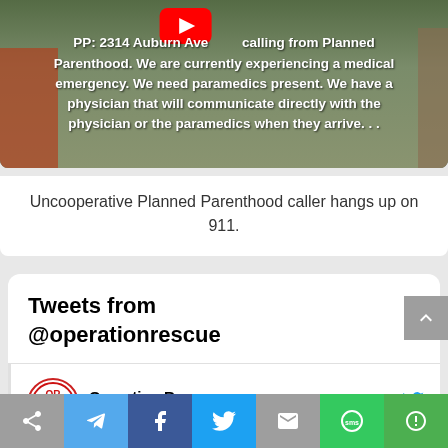[Figure (screenshot): Video thumbnail showing Planned Parenthood building with overlaid text about a 911 call describing a medical emergency, with YouTube logo partially visible]
Uncooperative Planned Parenthood caller hangs up on 911.
Tweets from @operationrescue
Operation Rescue @operat... · Aug 23
How the #ValueThemBoth vote really went. Many questions about irregularities left unanswered